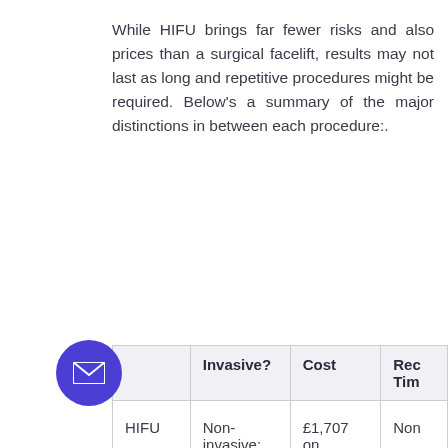While HIFU brings far fewer risks and also prices than a surgical facelift, results may not last as long and repetitive procedures might be required. Below's a summary of the major distinctions in between each procedure:.
|  | Invasive? | Cost | Rec
Tim |
| --- | --- | --- | --- |
| HIFU | Non-invasive;
no incisions | £1,707 on average | Non |